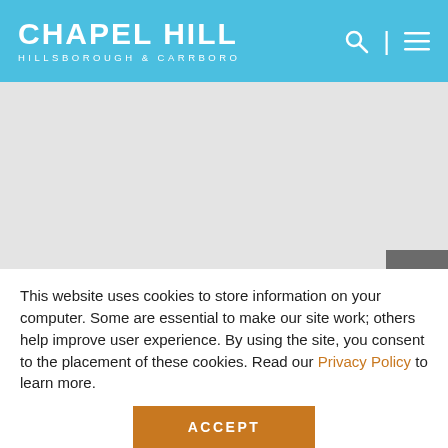CHAPEL HILL HILLSBOROUGH & CARRBORO
[Figure (screenshot): Light gray hero image area with a share/export icon button in the bottom right corner]
Iconic Places to Experience in Chapel Hill and Orange County
This website uses cookies to store information on your computer. Some are essential to make our site work; others help improve user experience. By using the site, you consent to the placement of these cookies. Read our Privacy Policy to learn more.
ACCEPT